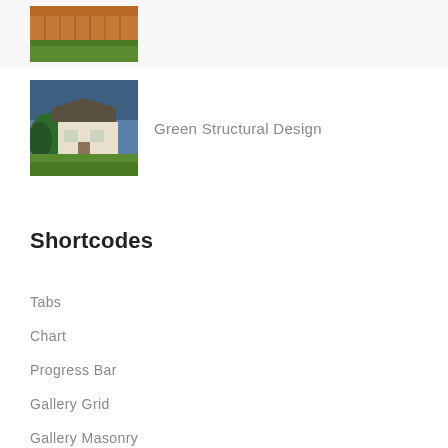[Figure (photo): Small thumbnail of an outdoor/garden scene with orange fence and green grass, shown in a light gray row at the top]
[Figure (photo): Thumbnail image of a modern green house/building with trees at dusk or evening]
Green Structural Design
Shortcodes
Tabs
Chart
Progress Bar
Gallery Grid
Gallery Masonry
Videos